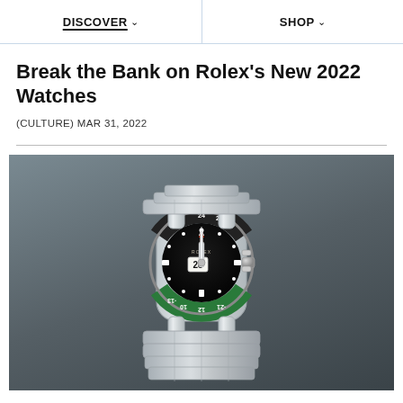DISCOVER  SHOP
Break the Bank on Rolex's New 2022 Watches
(CULTURE) MAR 31, 2022
[Figure (photo): Rolex GMT-Master II watch with black and green ceramic bezel on a grey background, showing date display at 28, Oyster bracelet, upside-down numerals visible at bottom of bezel.]